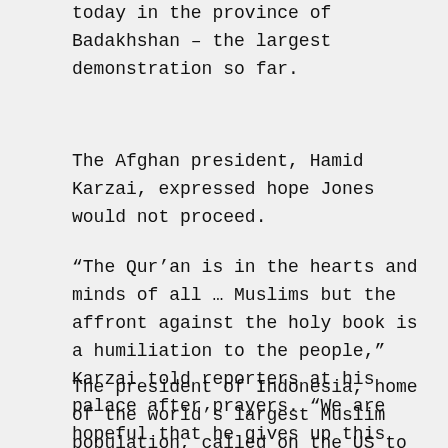today in the province of Badakhshan – the largest demonstration so far.
The Afghan president, Hamid Karzai, expressed hope Jones would not proceed.
“The Qur’an is in the hearts and minds of all … Muslims but the affront against the holy book is a humiliation to the people,” Karzai told reporters at his palace after prayers. “We are hopeful that he gives up this affront and should not even think about it.”
The president of Indonesia, home of the world’s largest Muslim population, called on the US to ensure that no burnings took place.